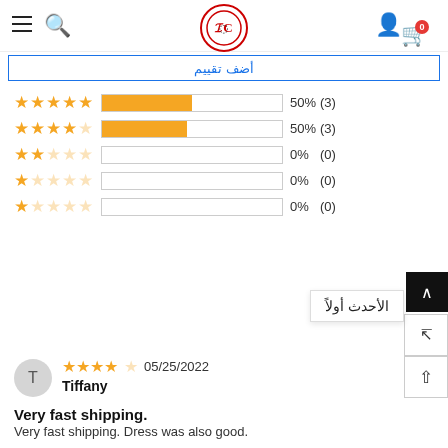Navigation bar with hamburger menu, search icon, logo, user icon, and cart (0)
أضف تقييم (blue link bar text, RTL)
[Figure (bar-chart): Star rating distribution]
الأحدث أولاً
T
Tiffany  05/25/2022  4 stars
Very fast shipping.
Very fast shipping. Dress was also good.
Tiffany,